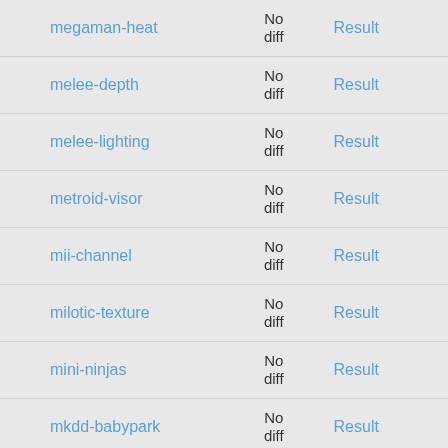| Name | Diff | Result |
| --- | --- | --- |
| megaman-heat | No diff | Result |
| melee-depth | No diff | Result |
| melee-lighting | No diff | Result |
| metroid-visor | No diff | Result |
| mii-channel | No diff | Result |
| milotic-texture | No diff | Result |
| mini-ninjas | No diff | Result |
| mkdd-babypark | No diff | Result |
| mkdd-efb | No diff | Result |
| mkw-bridge | No diff | Result |
| mkwii-bluebox | No diff | Result |
| ... | No | Result |